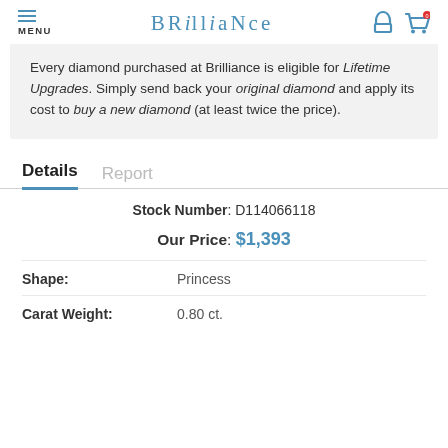MENU | BRILLIANCE
Every diamond purchased at Brilliance is eligible for Lifetime Upgrades. Simply send back your original diamond and apply its cost to buy a new diamond (at least twice the price).
Details  Report
Stock Number: D114066118
Our Price: $1,393
Shape: Princess
Carat Weight: 0.80 ct.